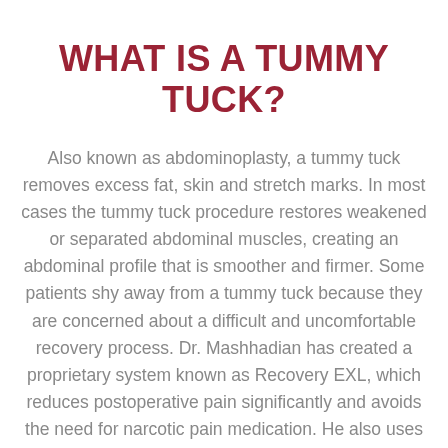WHAT IS A TUMMY TUCK?
Also known as abdominoplasty, a tummy tuck removes excess fat, skin and stretch marks. In most cases the tummy tuck procedure restores weakened or separated abdominal muscles, creating an abdominal profile that is smoother and firmer. Some patients shy away from a tummy tuck because they are concerned about a difficult and uncomfortable recovery process. Dr. Mashhadian has created a proprietary system known as Recovery EXL, which reduces postoperative pain significantly and avoids the need for narcotic pain medication. He also uses a revolutionary topical product to keep visible scarring to a minimum once healing is